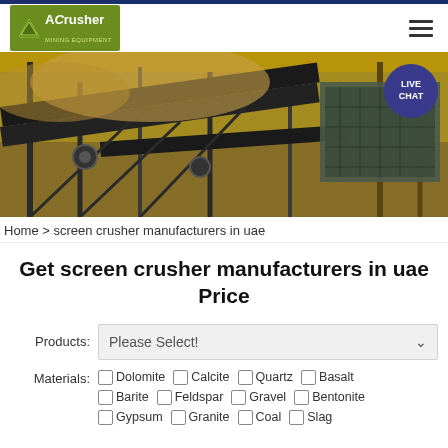[Figure (logo): ACrusher Mining Equipment logo — green background with white triangle and text]
[Figure (photo): Industrial crusher/screening machinery on a mining site with conveyor belts and steel structures. LIVE CHAT bubble overlay in top right.]
Home > screen crusher manufacturers in uae
Get screen crusher manufacturers in uae Price
Products: Please Select!
Materials: Dolomite  Calcite  Quartz  Basalt  Barite  Feldspar  Gravel  Bentonite  Gypsum  Granite  Coal  Slag